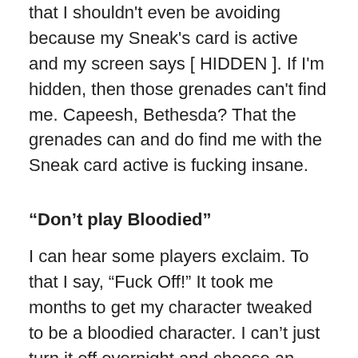that I shouldn't even be avoiding because my Sneak's card is active and my screen says [ HIDDEN ]. If I'm hidden, then those grenades can't find me. Capeesh, Bethesda? That the grenades can and do find me with the Sneak card active is fucking insane.
“Don’t play Bloodied”
I can hear some players exclaim. To that I say, “Fuck Off!” It took me months to get my character tweaked to be a bloodied character. I can’t just turn it off overnight and choose an entirely different play style. That means not just redoing my character’s stats and SPECIAL, that means changing crap tons of things about my character including carry weight, finding entirely different weapons and armor and completely rearranging my perk card stack to accommodate that new build. I don’t tell you how to run your character, don’t tell me how to run mine. So, “Fuck